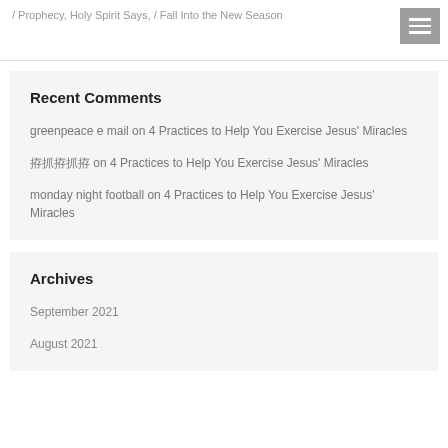/ Prophecy, Holy Spirit Says, / Fall Into the New Season
Recent Comments
greenpeace e mail on 4 Practices to Help You Exercise Jesus' Miracles
?????? on 4 Practices to Help You Exercise Jesus' Miracles
monday night football on 4 Practices to Help You Exercise Jesus' Miracles
Archives
September 2021
August 2021